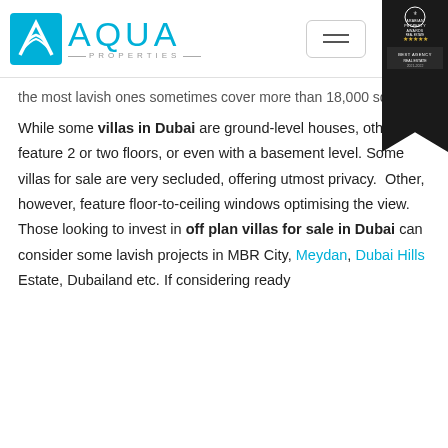[Figure (logo): Aqua Properties logo with cyan square icon and AQUA PROPERTIES text, plus a hamburger menu button and Arabian Property Awards ribbon in top right]
the most lavish ones sometimes cover more than 18,000 sq.ft.
While some villas in Dubai are ground-level houses, others feature 2 or two floors, or even with a basement level. Some villas for sale are very secluded, offering utmost privacy.  Other, however, feature floor-to-ceiling windows optimising the view. Those looking to invest in off plan villas for sale in Dubai can consider some lavish projects in MBR City, Meydan, Dubai Hills Estate, Dubailand etc. If considering ready